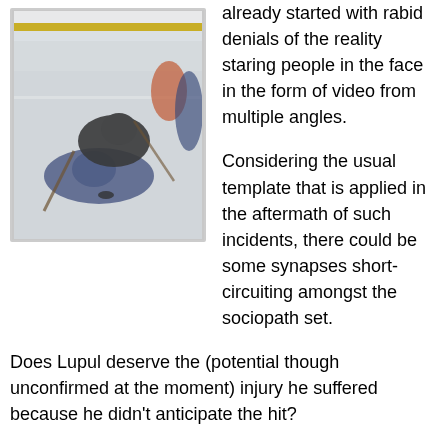[Figure (photo): A blurry action photo of an NHL hockey game, showing players colliding on the ice. One player in a blue jersey and another in a white/orange jersey are involved in a collision. The yellow boards are visible in the background.]
already started with rabid denials of the reality staring people in the face in the form of video from multiple angles.

Considering the usual template that is applied in the aftermath of such incidents, there could be some synapses short-circuiting amongst the sociopath set.
Does Lupul deserve the (potential though unconfirmed at the moment) injury he suffered because he didn't anticipate the hit?
What about that tiresome cliche that was being spewed with regularity by certain fans early in the season? Does it get tweaked slightly?